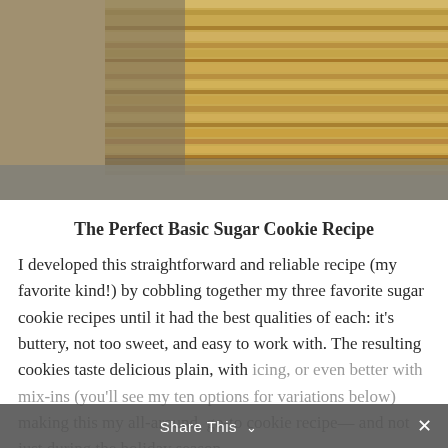[Figure (photo): Close-up photo of stacked wooden cutting boards or bamboo mats on a wooden surface, showing wood grain texture, tan and brown tones.]
The Perfect Basic Sugar Cookie Recipe
I developed this straightforward and reliable recipe (my favorite kind!) by cobbling together my three favorite sugar cookie recipes until it had the best qualities of each: it's buttery, not too sweet, and easy to work with. The resulting cookies taste delicious plain, with icing, or even better with mix-ins (you'll see my ten options for variations below) making this my all-around, go-to cookie recipe— and not just during the holiday season
Share This ∨  ×